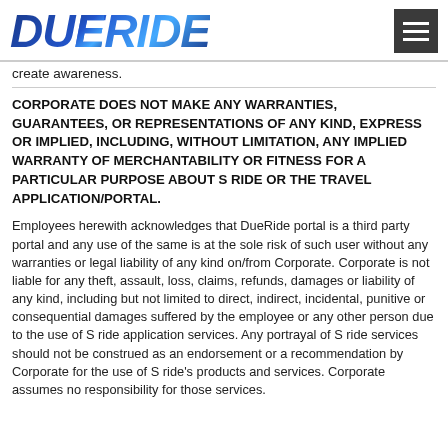DUERIDE
create awareness.
CORPORATE DOES NOT MAKE ANY WARRANTIES, GUARANTEES, OR REPRESENTATIONS OF ANY KIND, EXPRESS OR IMPLIED, INCLUDING, WITHOUT LIMITATION, ANY IMPLIED WARRANTY OF MERCHANTABILITY OR FITNESS FOR A PARTICULAR PURPOSE ABOUT S RIDE OR THE TRAVEL APPLICATION/PORTAL.
Employees herewith acknowledges that DueRide portal is a third party portal and any use of the same is at the sole risk of such user without any warranties or legal liability of any kind on/from Corporate. Corporate is not liable for any theft, assault, loss, claims, refunds, damages or liability of any kind, including but not limited to direct, indirect, incidental, punitive or consequential damages suffered by the employee or any other person due to the use of S ride application services. Any portrayal of S ride services should not be construed as an endorsement or a recommendation by Corporate for the use of S ride's products and services. Corporate assumes no responsibility for those services.